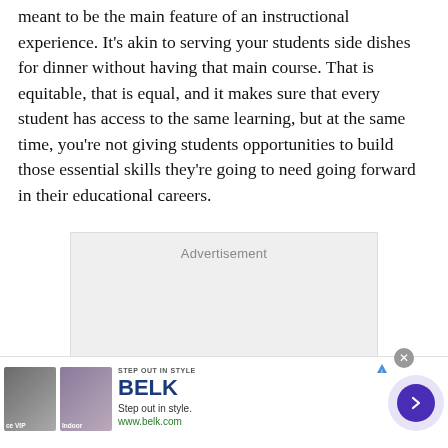meant to be the main feature of an instructional experience. It's akin to serving your students side dishes for dinner without having that main course. That is equitable, that is equal, and it makes sure that every student has access to the same learning, but at the same time, you're not giving students opportunities to build those essential skills they're going to need going forward in their educational careers.
[Figure (other): Advertisement placeholder box with grey background]
[Figure (other): Bottom banner advertisement for BELK - Step out in style. www.belk.com, with product images and navigation arrow button.]